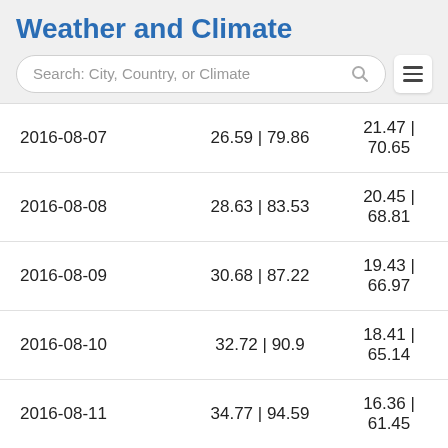Weather and Climate
Search: City, Country, or Climate
| Date | Max Temp °C | °F | Min Temp °C | °F |
| --- | --- | --- |
| 2016-08-07 | 26.59 | 79.86 | 21.47 | 70.65 |
| 2016-08-08 | 28.63 | 83.53 | 20.45 | 68.81 |
| 2016-08-09 | 30.68 | 87.22 | 19.43 | 66.97 |
| 2016-08-10 | 32.72 | 90.9 | 18.41 | 65.14 |
| 2016-08-11 | 34.77 | 94.59 | 16.36 | 61.45 |
| 2016-08-12 | 33.74 | 92.73 | 17.38 | 63.28 |
| 2016-08-13 | 34.77 | 94.59 | 16.36 | 61.45 |